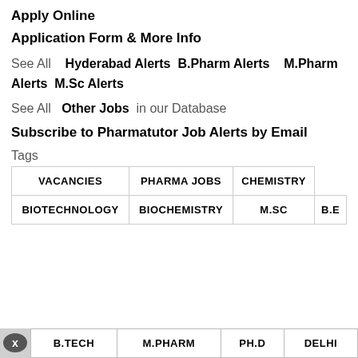Apply Online
Application Form & More Info
See All   Hyderabad Alerts  B.Pharm Alerts   M.Pharm Alerts  M.Sc Alerts
See All  Other Jobs  in our Database
Subscribe to Pharmatutor Job Alerts by Email
Tags
| VACANCIES | PHARMA JOBS | CHEMISTRY |
| BIOTECHNOLOGY | BIOCHEMISTRY | M.SC | B.E |
| B.TECH | M.PHARM | PH.D | DELHI |